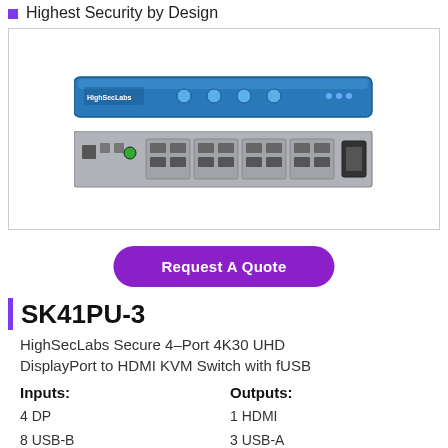Highest Security by Design
[Figure (photo): Front and rear views of HighSecLabs SK41PU-3 4-port KVM switch device with blue top panel and gray back panel showing ports]
Request A Quote
SK41PU-3
HighSecLabs Secure 4-Port 4K30 UHD DisplayPort to HDMI KVM Switch with fUSB
Inputs:
4 DP
8 USB-B
Outputs:
1 HDMI
3 USB-A